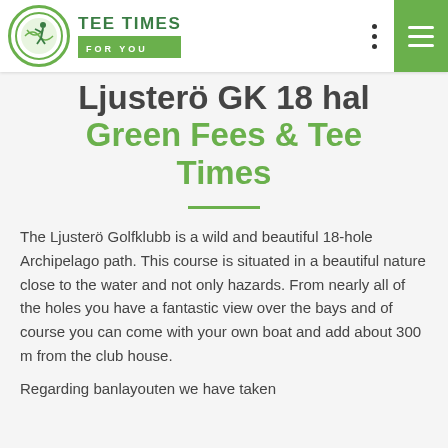TEE TIMES FOR YOU
Ljusterö GK 18 hal Green Fees & Tee Times
The Ljusterö Golfklubb is a wild and beautiful 18-hole Archipelago path. This course is situated in a beautiful nature close to the water and not only hazards. From nearly all of the holes you have a fantastic view over the bays and of course you can come with your own boat and add about 300 m from the club house.
Regarding banlayouten we have taken advantage of the natural conditions and